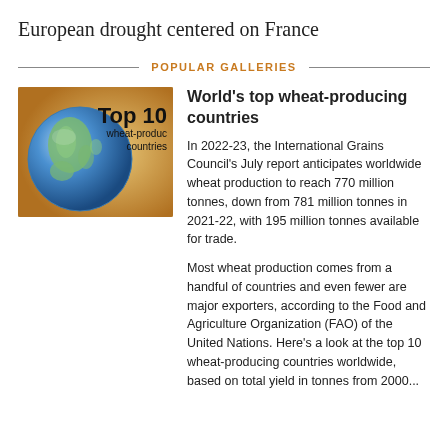European drought centered on France
POPULAR GALLERIES
[Figure (photo): Thumbnail image showing a globe with wheat in background, overlaid with text 'Top 10 wheat-producing countries']
World's top wheat-producing countries
In 2022-23, the International Grains Council's July report anticipates worldwide wheat production to reach 770 million tonnes, down from 781 million tonnes in 2021-22, with 195 million tonnes available for trade.
Most wheat production comes from a handful of countries and even fewer are major exporters, according to the Food and Agriculture Organization (FAO) of the United Nations. Here's a look at the top 10 wheat-producing countries worldwide, based on total yield in tonnes from 2000...